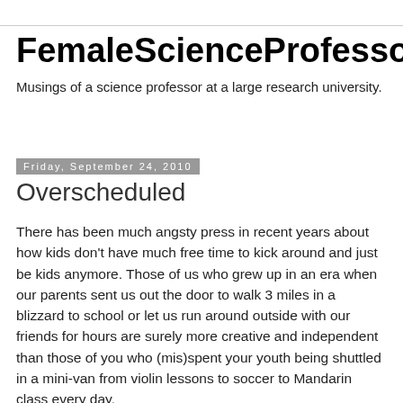FemaleScienceProfessor
Musings of a science professor at a large research university.
Friday, September 24, 2010
Overscheduled
There has been much angsty press in recent years about how kids don't have much free time to kick around and just be kids anymore. Those of us who grew up in an era when our parents sent us out the door to walk 3 miles in a blizzard to school or let us run around outside with our friends for hours are surely more creative and independent than those of you who (mis)spent your youth being shuttled in a mini-van from violin lessons to soccer to Mandarin class every day.
But what about today's overscheduled professors? If we